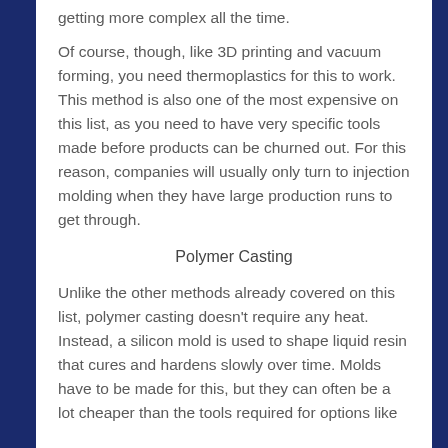getting more complex all the time.
Of course, though, like 3D printing and vacuum forming, you need thermoplastics for this to work. This method is also one of the most expensive on this list, as you need to have very specific tools made before products can be churned out. For this reason, companies will usually only turn to injection molding when they have large production runs to get through.
Polymer Casting
Unlike the other methods already covered on this list, polymer casting doesn't require any heat. Instead, a silicon mold is used to shape liquid resin that cures and hardens slowly over time. Molds have to be made for this, but they can often be a lot cheaper than the tools required for options like